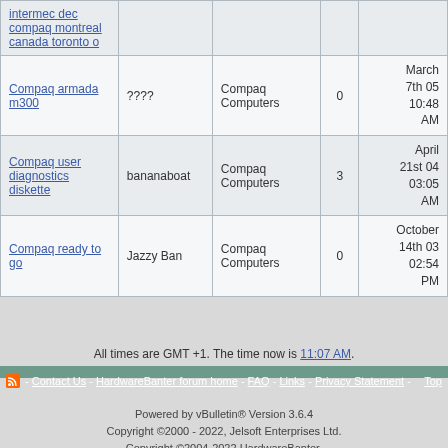| Topic | Author | Forum | Replies | Last Post |
| --- | --- | --- | --- | --- |
| intermec dec compaq montreal canada toronto o |  |  |  |  |
| Compaq armada m300 | ???? | Compaq Computers | 0 | March 7th 05 10:48 AM |
| Compaq user diagnostics diskette | bananaboat | Compaq Computers | 3 | April 21st 04 03:05 AM |
| Compaq ready to go | Jazzy Ban | Compaq Computers | 0 | October 14th 03 02:54 PM |
All times are GMT +1. The time now is 11:07 AM.
- Contact Us - HardwareBanter forum home - FAQ - Links - Privacy Statement - Top
Powered by vBulletin® Version 3.6.4
Copyright ©2000 - 2022, Jelsoft Enterprises Ltd.
Copyright ©2004-2022 HardwareBanter.
The comments are property of their posters.